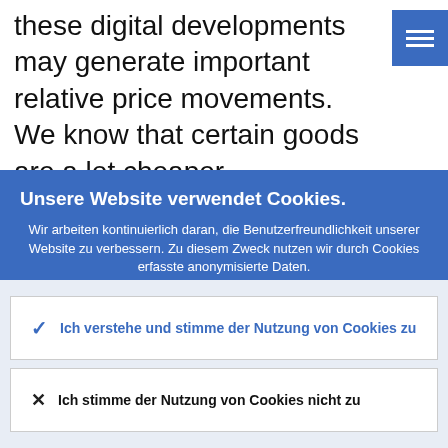these digital developments may generate important relative price movements. We know that certain goods are a lot cheaper
Unsere Website verwendet Cookies.
Wir arbeiten kontinuierlich daran, die Benutzerfreundlichkeit unserer Website zu verbessern. Zu diesem Zweck nutzen wir durch Cookies erfasste anonymisierte Daten.
Weitere Informationen zu unserer Nutzung von Cookies
Ich verstehe und stimme der Nutzung von Cookies zu
Ich stimme der Nutzung von Cookies nicht zu